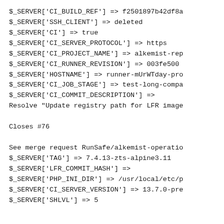$_SERVER['CI_BUILD_REF'] => f2501897b42df8a
$_SERVER['SSH_CLIENT'] => deleted
$_SERVER['CI'] => true
$_SERVER['CI_SERVER_PROTOCOL'] => https
$_SERVER['CI_PROJECT_NAME'] => alkemist-rep
$_SERVER['CI_RUNNER_REVISION'] => 003fe500
$_SERVER['HOSTNAME'] => runner-mUrWTday-pro
$_SERVER['CI_JOB_STAGE'] => test-long-compa
$_SERVER['CI_COMMIT_DESCRIPTION'] =>
Resolve "Update registry path for LFR image

Closes #76

See merge request RunSafe/alkemist-operatio
$_SERVER['TAG'] => 7.4.13-zts-alpine3.11
$_SERVER['LFR_COMMIT_HASH'] =>
$_SERVER['PHP_INI_DIR'] => /usr/local/etc/p
$_SERVER['CI_SERVER_VERSION'] => 13.7.0-pre
$_SERVER['SHLVL'] => 5